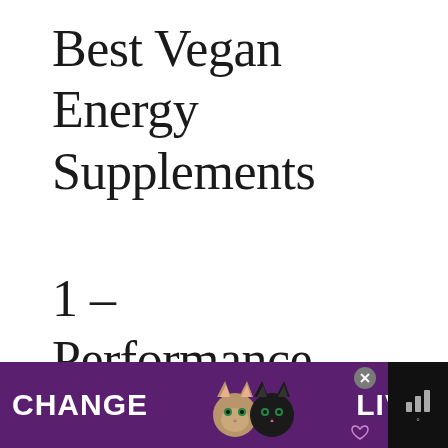Best Vegan Energy Supplements
1 – Performance Lab Energy
[Figure (photo): Product image of Performance Lab Energy supplements with white pill jar and green box packaging]
[Figure (photo): What's Next widget showing thumbnail of a person and text 'The 5 Best Vegan Post-...']
[Figure (screenshot): Ad banner with purple background showing cats and text CHANGE LIVES with close and mute buttons]